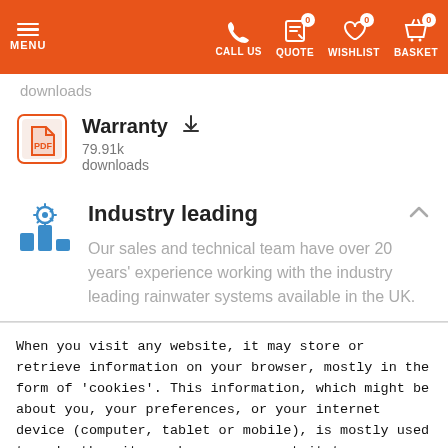MENU | CALL US | QUOTE 0 | WISHLIST 0 | BASKET 0
downloads
Warranty
79.91k downloads
Industry leading
Our sales and technical team have over 20 years' experience working with the industry leading rainwater systems available in the UK.
When you visit any website, it may store or retrieve information on your browser, mostly in the form of 'cookies'. This information, which might be about you, your preferences, or your internet device (computer, tablet or mobile), is mostly used to make the site work as you expect it to.
More info
Accept all